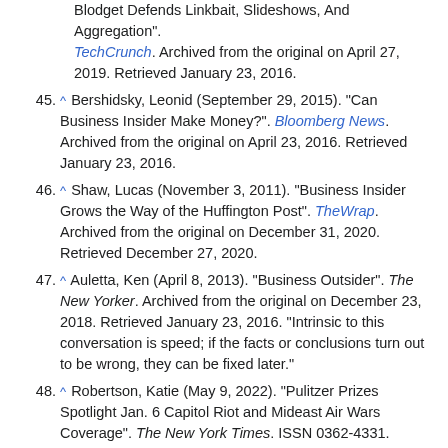(continued) Blodget Defends Linkbait, Slideshows, And Aggregation". TechCrunch. Archived from the original on April 27, 2019. Retrieved January 23, 2016.
45. ^ Bershidsky, Leonid (September 29, 2015). "Can Business Insider Make Money?". Bloomberg News. Archived from the original on April 23, 2016. Retrieved January 23, 2016.
46. ^ Shaw, Lucas (November 3, 2011). "Business Insider Grows the Way of the Huffington Post". TheWrap. Archived from the original on December 31, 2020. Retrieved December 27, 2020.
47. ^ Auletta, Ken (April 8, 2013). "Business Outsider". The New Yorker. Archived from the original on December 23, 2018. Retrieved January 23, 2016. "Intrinsic to this conversation is speed; if the facts or conclusions turn out to be wrong, they can be fixed later."
48. ^ Robertson, Katie (May 9, 2022). "Pulitzer Prizes Spotlight Jan. 6 Capitol Riot and Mideast Air Wars Coverage". The New York Times. ISSN 0362-4331. Retrieved May 11, 2022.
Works cited
Holiday, Ryan (July 19, 2012). Trust Me, I'm Lying: